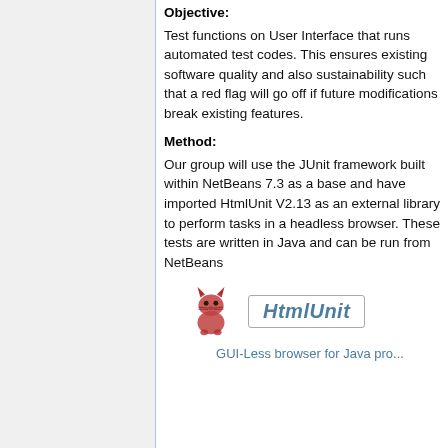Objective:
Test functions on User Interface that runs automated test codes. This ensures existing software quality and also sustainability such that a red flag will go off if future modifications break existing features.
Method:
Our group will use the JUnit framework built within NetBeans 7.3 as a base and have imported HtmlUnit V2.13 as an external library to perform tasks in a headless browser. These tests are written in Java and can be run from NetBeans
[Figure (logo): HtmlUnit logo with lynx mascot icon on the left and HtmlUnit text in a bordered box on the right]
GUI-Less browser for Java pro...